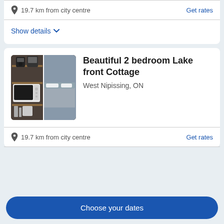19.7 km from city centre
Get rates
Show details
Beautiful 2 bedroom Lake front Cottage
West Nipissing, ON
[Figure (photo): Interior photo of a cottage kitchen showing a coffee maker, microwave, and kitchen shelving with utensils]
19.7 km from city centre
Get rates
Choose your dates